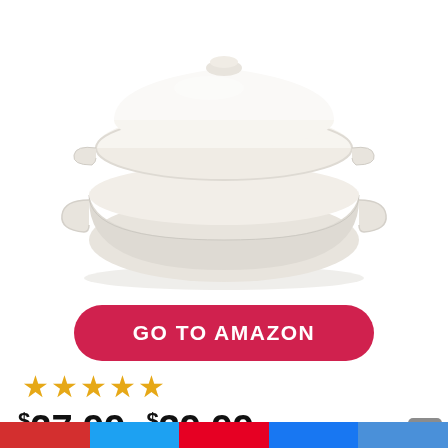[Figure (photo): White 4.5-quart enameled cast-iron Dutch oven with lid, photographed against white background]
GO TO AMAZON
★★★★★
$27.99–$39.99 $59.59
Last update was on: Thursday, December 19, 2019
White 4.5-quart enameled cast-iron Dutch oven